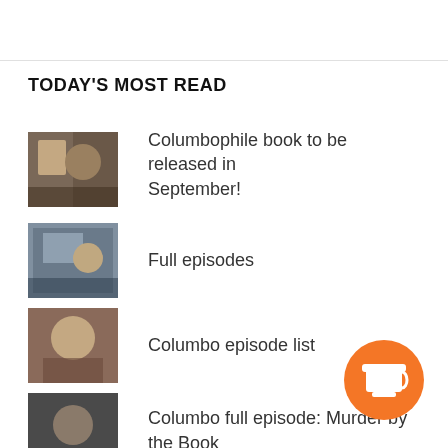TODAY'S MOST READ
Columbophile book to be released in September!
Full episodes
Columbo episode list
Columbo full episode: Murder by the Book
Episode rankings
Columbo full episode: A Friend in D…
[Figure (illustration): Orange circular coffee cup button/widget in bottom right corner]